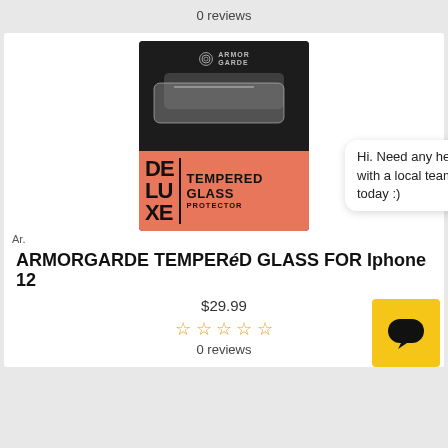0 reviews
[Figure (photo): Product image: Armorgarde Deluxe Tempered Glass Protector packaging on dark background, with a chat bubble overlay saying 'Hi. Need any help? Chat with a local team member today :)']
Ar.
ARMORGARDE TEMPERED GLASS FOR Iphone 12
$29.99
0 reviews